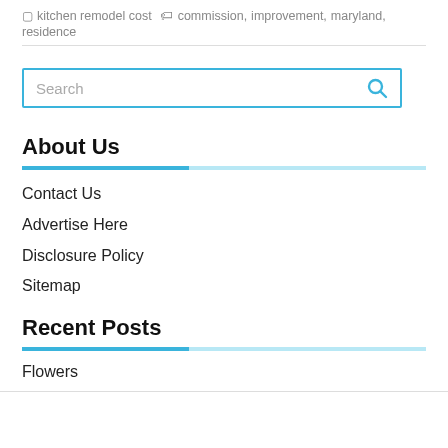kitchen remodel cost   commission, improvement, maryland, residence
[Figure (other): Search input box with blue border and magnifying glass icon on the right]
About Us
Contact Us
Advertise Here
Disclosure Policy
Sitemap
Recent Posts
Flowers